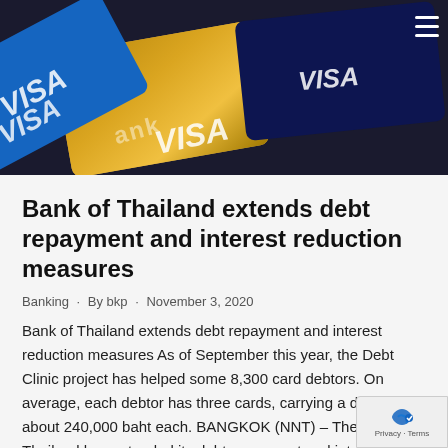[Figure (photo): Close-up photo of multiple credit cards including Visa cards, one gold/metallic and others blue/dark navy colored, overlapping each other.]
Bank of Thailand extends debt repayment and interest reduction measures
Banking · By bkp · November 3, 2020
Bank of Thailand extends debt repayment and interest reduction measures As of September this year, the Debt Clinic project has helped some 8,300 card debtors. On average, each debtor has three cards, carrying a debt of about 240,000 baht each. BANGKOK (NNT) – The Bank of Thailand has extended its debt repayment and interest reduction...